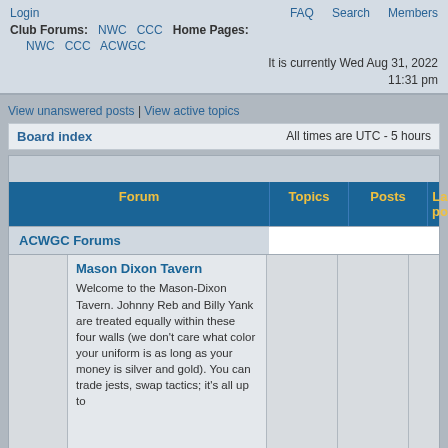Login   FAQ   Search   Members
Club Forums: NWC CCC Home Pages: NWC CCC ACWGC
It is currently Wed Aug 31, 2022 11:31 pm
View unanswered posts | View active topics
Board index   All times are UTC - 5 hours
| Forum | Topics | Posts | Last post |
| --- | --- | --- | --- |
| ACWGC Forums |  |  |  |
| Mason Dixon Tavern
Welcome to the Mason-Dixon Tavern. Johnny Reb and Billy Yank are treated equally within these four walls (we don't care what color your uniform is as long as your money is silver and gold). You can trade jests, swap tactics; it's all up to |  |  |  |